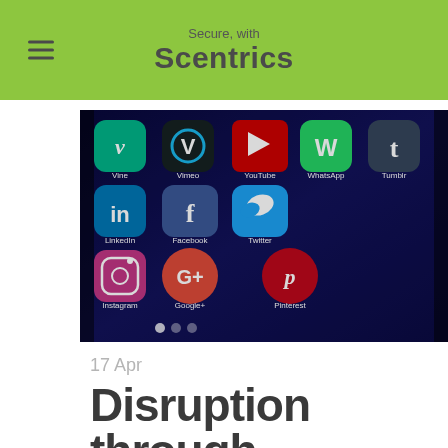Secure, with Scentrics
[Figure (photo): Close-up photo of a smartphone screen showing social media app icons including Vine, Vimeo, WhatsApp, LinkedIn, YouTube, Tumblr, Facebook, Twitter, Instagram, Google+, Pinterest and others on a dark blue background.]
17 Apr
Disruption through